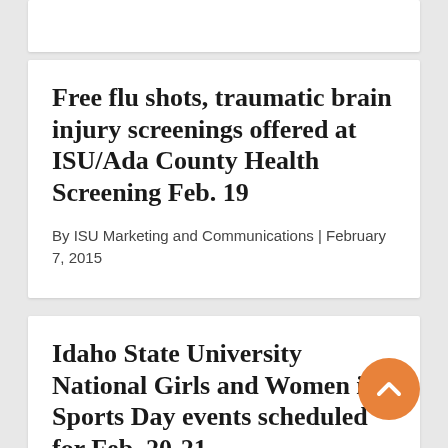Free flu shots, traumatic brain injury screenings offered at ISU/Ada County Health Screening Feb. 19
By ISU Marketing and Communications | February 7, 2015
Idaho State University National Girls and Women in Sports Day events scheduled for Feb. 20-21